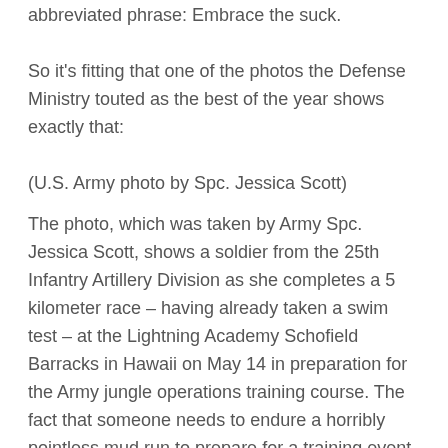abbreviated phrase: Embrace the suck.
So it's fitting that one of the photos the Defense Ministry touted as the best of the year shows exactly that:
(U.S. Army photo by Spc. Jessica Scott)
The photo, which was taken by Army Spc. Jessica Scott, shows a soldier from the 25th Infantry Artillery Division as she completes a 5 kilometer race – having already taken a swim test – at the Lightning Academy Schofield Barracks in Hawaii on May 14 in preparation for the Army jungle operations training course. The fact that someone needs to endure a horribly pointless mud run to prepare for a training event is a testament to the difficulty of the Army's journey through the jungle. As the service notes, between 30-40% of participants fail to complete the three-week training program in Oahu, where they learn about homelessness, foraging, finding water and navigate the dense vegetation of the jungle.